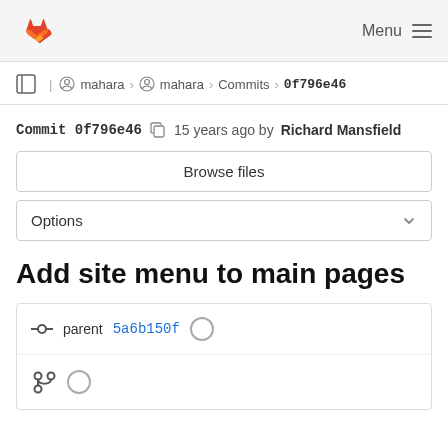GitLab — Menu
mahara › mahara › Commits › 0f796e46
Commit 0f796e46  15 years ago by Richard Mansfield
Browse files
Options
Add site menu to main pages
parent 5a6b150f
Changes